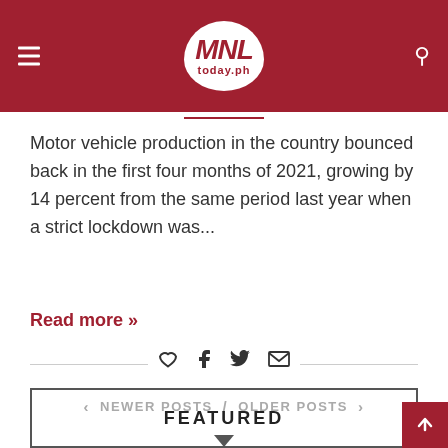[Figure (logo): MNL today.ph logo in white speech-bubble shape on dark red header bar]
Motor vehicle production in the country bounced back in the first four months of 2021, growing by 14 percent from the same period last year when a strict lockdown was...
Read more »
NEWER POSTS / OLDER POSTS
FEATURED